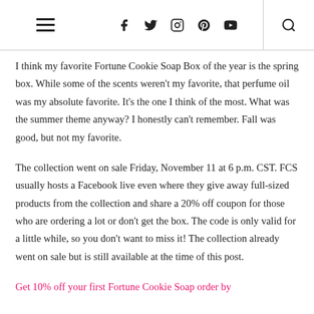Navigation header with hamburger menu, social icons (Facebook, Twitter, Instagram, Pinterest, YouTube), and search icon
I think my favorite Fortune Cookie Soap Box of the year is the spring box. While some of the scents weren't my favorite, that perfume oil was my absolute favorite. It's the one I think of the most. What was the summer theme anyway? I honestly can't remember. Fall was good, but not my favorite.
The collection went on sale Friday, November 11 at 6 p.m. CST. FCS usually hosts a Facebook live even where they give away full-sized products from the collection and share a 20% off coupon for those who are ordering a lot or don't get the box. The code is only valid for a little while, so you don't want to miss it! The collection already went on sale but is still available at the time of this post.
Get 10% off your first Fortune Cookie Soap order by